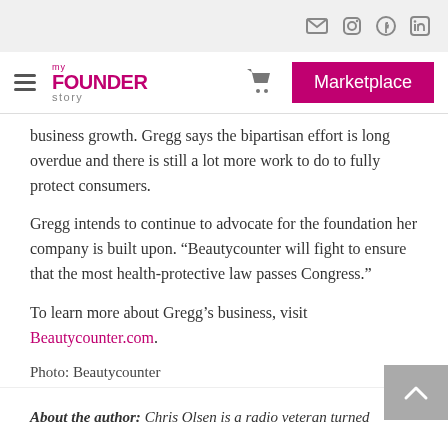my FOUNDER story — Marketplace [navigation bar with icons]
business growth. Gregg says the bipartisan effort is long overdue and there is still a lot more work to do to fully protect consumers.
Gregg intends to continue to advocate for the foundation her company is built upon. “Beautycounter will fight to ensure that the most health-protective law passes Congress.”
To learn more about Gregg’s business, visit Beautycounter.com.
Photo: Beautycounter
About the author: Chris Olsen is a radio veteran turned